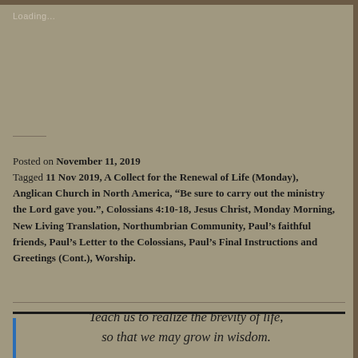Loading...
Posted on November 11, 2019
Tagged 11 Nov 2019, A Collect for the Renewal of Life (Monday), Anglican Church in North America, “Be sure to carry out the ministry the Lord gave you.”, Colossians 4:10-18, Jesus Christ, Monday Morning, New Living Translation, Northumbrian Community, Paul’s faithful friends, Paul’s Letter to the Colossians, Paul’s Final Instructions and Greetings (Cont.), Worship.
Teach us to realize the brevity of life, so that we may grow in wisdom.
Psalm 90:12